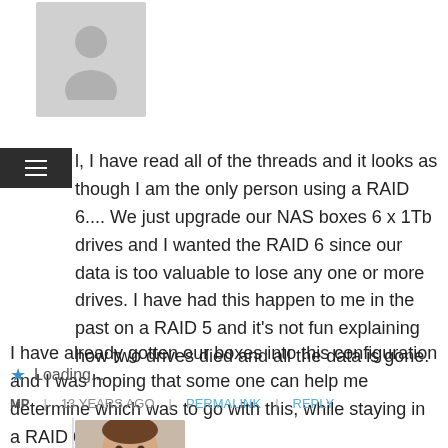[Figure (illustration): Gray placeholder avatar image of a person silhouette]
l, I have read all of the threads and it looks as though I am the only person using a RAID 6.... We just upgrade our NAS boxes 6 x 1Tb drives and I wanted the RAID 6 since our data is too valuable to lose any one or more drives. I have had this happen to me in the past on a RAID 5 and it's not fun explaining how two drives died and all the data is gone.

I have already gotten our boxes into this configuration and I was hoping that some one can help me determine which was to go with this, while staying in a RAID 6 config.
Loading...
MP | 13 YEARS AGO | PERMALINK | REPLY
[Figure (photo): Profile photo of a man with short brown hair, smiling]